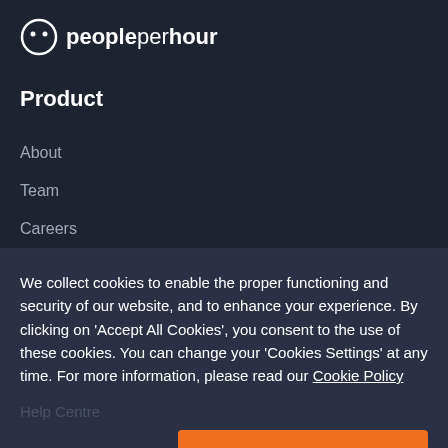[Figure (logo): PeoplePerHour logo with smiley face icon and text 'peopleperhour']
Product
About
Team
Careers
We collect cookies to enable the proper functioning and security of our website, and to enhance your experience. By clicking on 'Accept All Cookies', you consent to the use of these cookies. You can change your 'Cookies Settings' at any time. For more information, please read our Cookie Policy
Help Centre
Cookie Settings
ACCEPT ALL COOKIES